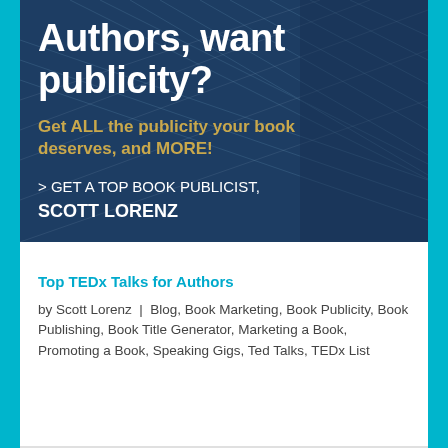[Figure (infographic): Dark navy blue banner with book background image. Large white bold text 'Authors, want publicity?' followed by gold bold text 'Get ALL the publicity your book deserves, and MORE!' and white text '> GET A TOP BOOK PUBLICIST, SCOTT LORENZ']
Authors, want publicity?
Get ALL the publicity your book deserves, and MORE!
> GET A TOP BOOK PUBLICIST, SCOTT LORENZ
Top TEDx Talks for Authors
by Scott Lorenz | Blog, Book Marketing, Book Publicity, Book Publishing, Book Title Generator, Marketing a Book, Promoting a Book, Speaking Gigs, Ted Talks, TEDx List